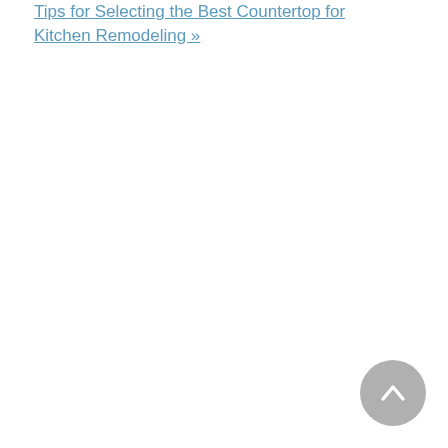Tips for Selecting the Best Countertop for Kitchen Remodeling »
[Figure (other): Scroll-to-top circular button with upward chevron arrow, grey color, positioned bottom-right]